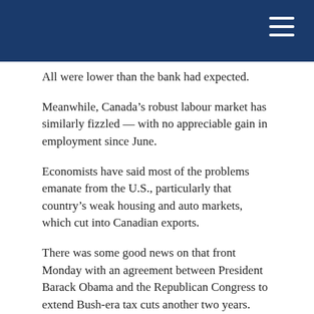All were lower than the bank had expected.
Meanwhile, Canada’s robust labour market has similarly fizzled — with no appreciable gain in employment since June.
Economists have said most of the problems emanate from the U.S., particularly that country’s weak housing and auto markets, which cut into Canadian exports.
There was some good news on that front Monday with an agreement between President Barack Obama and the Republican Congress to extend Bush-era tax cuts another two years.
In a conference call Tuesday morning, Scotiabank economists predicted next year’s growth in North America, Europe and Japan will be slower than this year’s, although they added a double-dip recession was unlikely.
“The lengthy process of bringing outsized fiscal deficits under control, withdrawing unprecedented monetary stimulus and